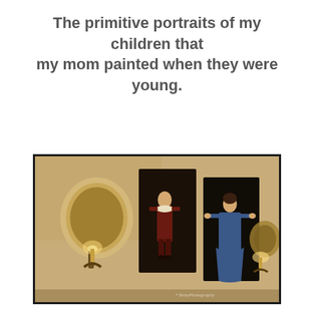The primitive portraits of my children that my mom painted when they were young.
[Figure (photo): A dimly lit hallway wall showing two primitive-style painted portraits of children on dark canvases, flanked by round brass wall sconce candle holders. The left portrait shows a child in colonial-era dress, the right portrait shows a girl in a blue dress. A watermark reading 'BettyPhotography' appears in the lower right corner.]